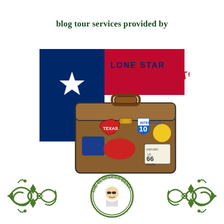blog tour services provided by
[Figure (logo): Lone Star Book Blog Tours logo: Texas flag background with a brown travel suitcase decorated with Texas sticker, Interstate 10 shield sticker, Route 66 sticker, and other travel stickers. Text reads LONE STAR BOOK BLOG TOURS.]
[Figure (logo): The Clueless Gent blog logo: decorative green scrollwork/flourish design with a circular medallion in the center containing a cartoon illustration of a man with sunglasses. Text reads THE CLUELESS GENT around the circle.]